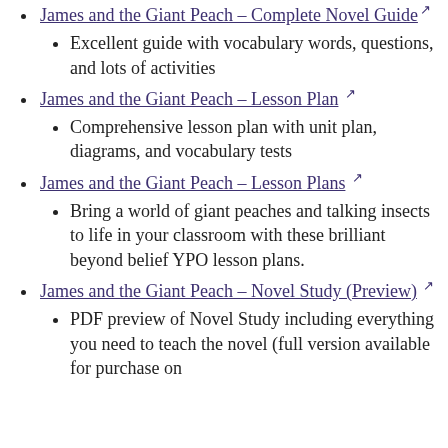James and the Giant Peach – Complete Novel Guide [external link]
  • Excellent guide with vocabulary words, questions, and lots of activities
James and the Giant Peach – Lesson Plan [external link]
  • Comprehensive lesson plan with unit plan, diagrams, and vocabulary tests
James and the Giant Peach – Lesson Plans [external link]
  • Bring a world of giant peaches and talking insects to life in your classroom with these brilliant beyond belief YPO lesson plans.
James and the Giant Peach – Novel Study (Preview) [external link]
  • PDF preview of Novel Study including everything you need to teach the novel (full version available for purchase on